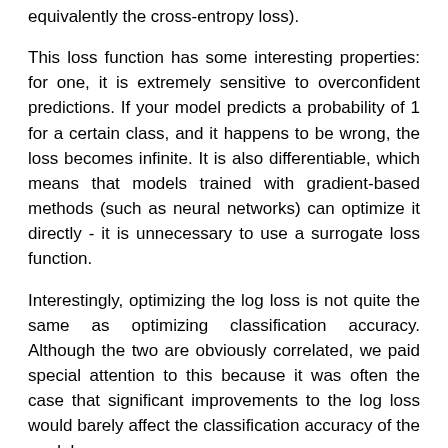equivalently the cross-entropy loss).
This loss function has some interesting properties: for one, it is extremely sensitive to overconfident predictions. If your model predicts a probability of 1 for a certain class, and it happens to be wrong, the loss becomes infinite. It is also differentiable, which means that models trained with gradient-based methods (such as neural networks) can optimize it directly - it is unnecessary to use a surrogate loss function.
Interestingly, optimizing the log loss is not quite the same as optimizing classification accuracy. Although the two are obviously correlated, we paid special attention to this because it was often the case that significant improvements to the log loss would barely affect the classification accuracy of the models.
2.2  The solution: convnets!